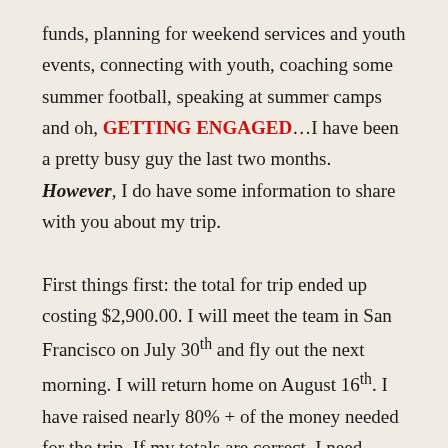funds, planning for weekend services and youth events, connecting with youth, coaching some summer football, speaking at summer camps and oh, GETTING ENGAGED…I have been a pretty busy guy the last two months. However, I do have some information to share with you about my trip.

First things first: the total for trip ended up costing $2,900.00. I will meet the team in San Francisco on July 30th and fly out the next morning. I will return home on August 16th. I have raised nearly 80% + of the money needed for the trip. If my totals are correct, I need about $600-$700 more and I have less then two weeks to finish raising that amount. I am trusting and